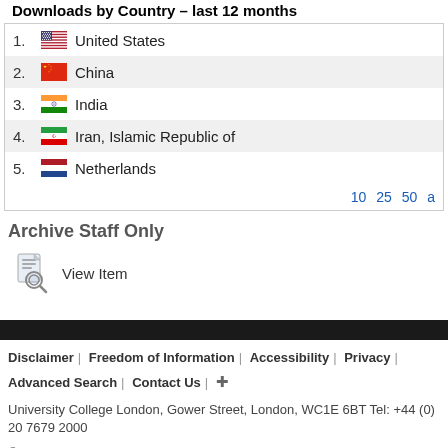Downloads by Country – last 12 months
1. United States
2. China
3. India
4. Iran, Islamic Republic of
5. Netherlands
10  25  50  a
Archive Staff Only
View Item
Disclaimer | Freedom of Information | Accessibility | Privacy | Advanced Search | Contact Us | +
University College London, Gower Street, London, WC1E 6BT Tel: +44 (0) 20 7679 2000
© UCL 1999–2022